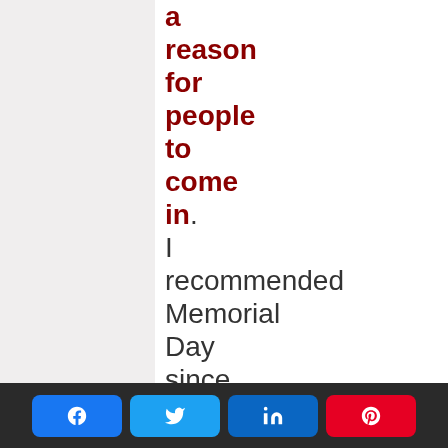a reason for people to come in. I recommended Memorial Day since the city is empty on long holiday weekends
Share buttons: Facebook, Twitter, LinkedIn, Pinterest